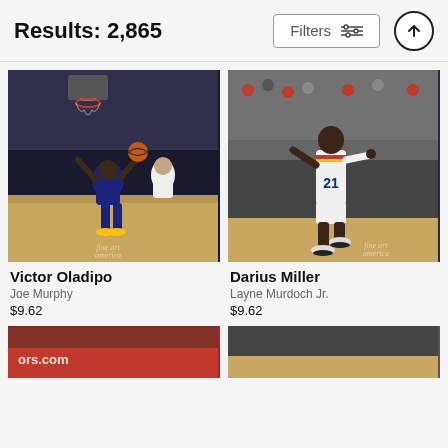Results: 2,865 | Filters | ↑
[Figure (photo): Basketball action photo of Victor Oladipo driving to the basket in Indiana Pacers uniform with watermark 'fine art america']
Victor Oladipo
Joe Murphy
$9.62
[Figure (photo): Basketball action photo of Darius Miller in New Orleans Pelicans NOLA #21 jersey running on court with watermark 'fine art america']
Darius Miller
Layne Murdoch Jr.
$9.62
[Figure (photo): Partial basketball photo bottom left, partially cropped]
[Figure (photo): Partial basketball photo bottom right, partially cropped]